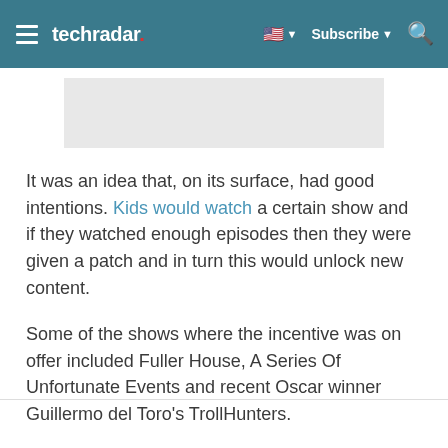techradar — Subscribe
[Figure (other): Gray advertisement placeholder rectangle]
It was an idea that, on its surface, had good intentions. Kids would watch a certain show and if they watched enough episodes then they were given a patch and in turn this would unlock new content.
Some of the shows where the incentive was on offer included Fuller House, A Series Of Unfortunate Events and recent Oscar winner Guillermo del Toro's TrollHunters.